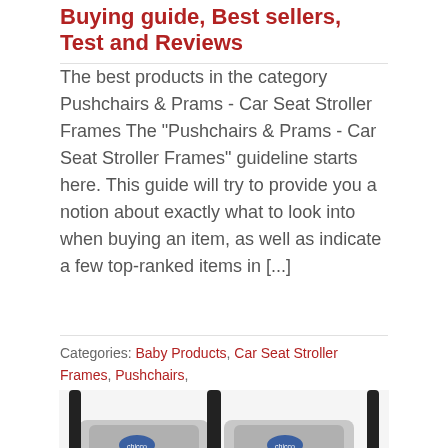Buying guide, Best sellers, Test and Reviews
The best products in the category Pushchairs & Prams - Car Seat Stroller Frames The "Pushchairs & Prams - Car Seat Stroller Frames" guideline starts here. This guide will try to provide you a notion about exactly what to look into when buying an item, as well as indicate a few top-ranked items in [...]
Categories: Baby Products, Car Seat Stroller Frames, Pushchairs, Pushchairs & Prams
Read More ›
[Figure (photo): Two side-by-side grey and black baby stroller seats (double pushchair), with Chicco branding visible on the seat backs.]